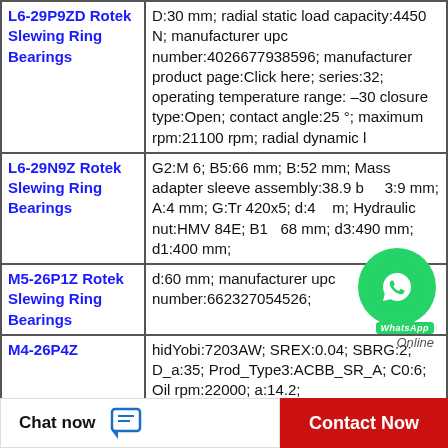| Product | Specifications |
| --- | --- |
| L6-29P9ZD Rotek Slewing Ring Bearings | D:30 mm; radial static load capacity:4450 N; manufacturer upc number:4026677938596; manufacturer product page:Click here; series:32; operating temperature range: –30 closure type:Open; contact angle:25 °; maximum rpm:21100 rpm; radial dynamic l |
| L6-29N9Z Rotek Slewing Ring Bearings | G2:M 6; B5:66 mm; B:52 mm; Mass adapter sleeve assembly:38.9 b; B3:9 mm; A:4 mm; G:Tr 420x5; d:4 m; Hydraulic nut:HMV 84E; B1:168 mm; d3:490 mm; d1:400 mm; |
| M5-26P1Z Rotek Slewing Ring Bearings | d:60 mm; manufacturer upc number:662327054526; |
| M4-26P4Z | hidYobi:7203AW; SREX:0.04; SBRG:2; D_a:35; Prod_Type3:ACBB_SR_A; C0:6; Oil rpm:22000; a:14.2; |
Chat now
Contact Now